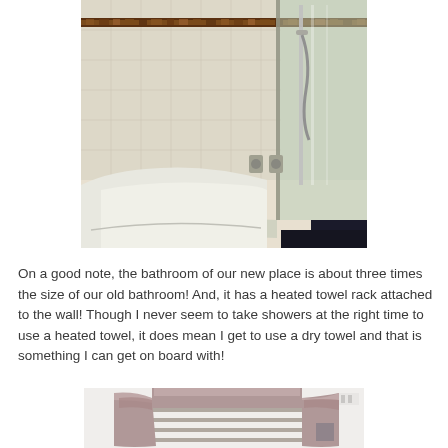[Figure (photo): Photo of a bathroom showing a curved bathtub with a glass shower screen enclosure, white tiles, and chrome shower fittings with a decorative brown tile border near the top.]
On a good note, the bathroom of our new place is about three times the size of our old bathroom! And, it has a heated towel rack attached to the wall! Though I never seem to take showers at the right time to use a heated towel, it does mean I get to use a dry towel and that is something I can get on board with!
[Figure (photo): Photo of a heated towel rack mounted on a wall with two mauve/grey towels draped over the horizontal bars.]